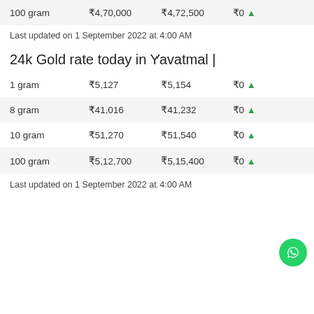|  |  |  |  |
| --- | --- | --- | --- |
| 100 gram | ₹4,70,000 | ₹4,72,500 | ₹0 ↑ |
Last updated on 1 September 2022 at 4:00 AM
24k Gold rate today in Yavatmal |
|  |  |  |  |
| --- | --- | --- | --- |
| 1 gram | ₹5,127 | ₹5,154 | ₹0 ↑ |
| 8 gram | ₹41,016 | ₹41,232 | ₹0 ↑ |
| 10 gram | ₹51,270 | ₹51,540 | ₹0 ↑ |
| 100 gram | ₹5,12,700 | ₹5,15,400 | ₹0 ↑ |
Last updated on 1 September 2022 at 4:00 AM